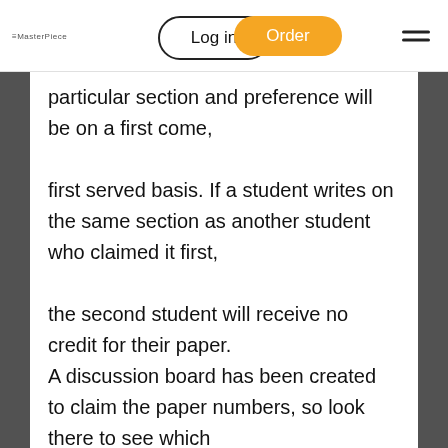Log in | Order
particular section and preference will be on a first come, first served basis. If a student writes on the same section as another student who claimed it first, the second student will receive no credit for their paper. A discussion board has been created to claim the paper numbers, so look there to see which numbers other students have and have not